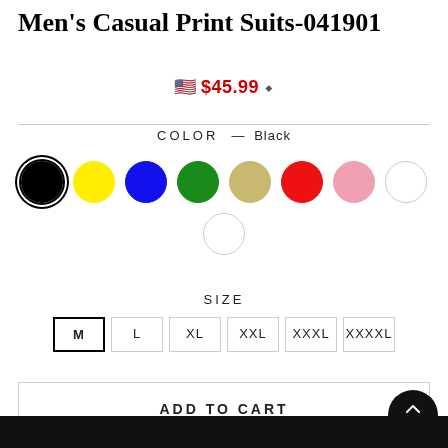Men's Casual Print Suits-041901
🇺🇸 $45.99 ⬥
COLOR — Black
[Figure (infographic): Color selection circles: black (selected, with double ring), yellow, blue, green, khaki/tan, red, pink, white (large), white (small, second row center)]
SIZE
M  L  XL  XXL  XXXL  XXXXL
ADD TO CART